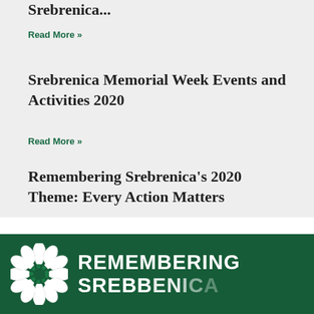Read More »
Srebrenica Memorial Week Events and Activities 2020
Read More »
Remembering Srebrenica's 2020 Theme: Every Action Matters
Read More »
[Figure (logo): Remembering Srebrenica logo on dark green background with white flower motif and text REMEMBERING SREBRENICA]